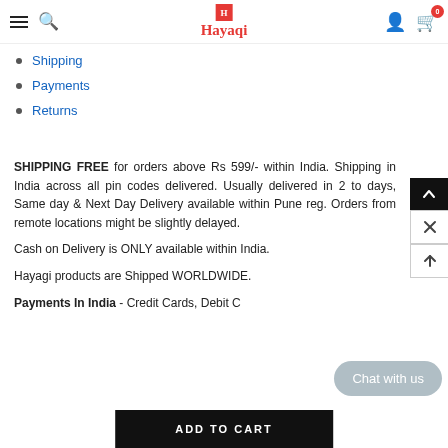Hayaqi - navigation header with hamburger, search, logo, user and cart icons
Shipping
Payments
Returns
SHIPPING FREE for orders above Rs 599/- within India. Shipping in India across all pin codes delivered. Usually delivered in 2 to days, Same day & Next Day Delivery available within Pune reg. Orders from remote locations might be slightly delayed.
Cash on Delivery is ONLY available within India.
Hayagi products are Shipped WORLDWIDE.
Payments In India - Credit Cards, Debit C